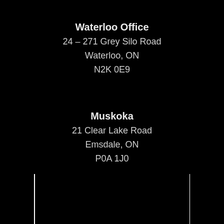Waterloo Office
24 – 271 Grey Silo Road
Waterloo, ON
N2K 0E9
Muskoka
21 Clear Lake Road
Emsdale, ON
P0A 1J0